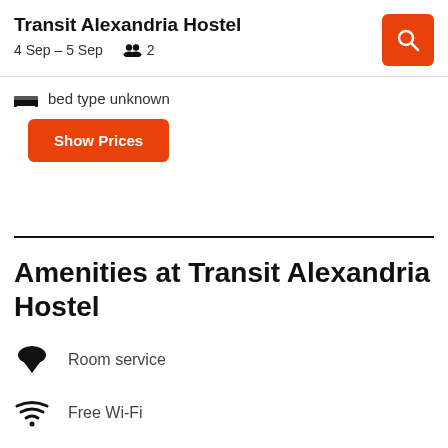Transit Alexandria Hostel
4 Sep – 5 Sep    2
bed type unknown
Show Prices
Amenities at Transit Alexandria Hostel
Room service
Free Wi-Fi
TV